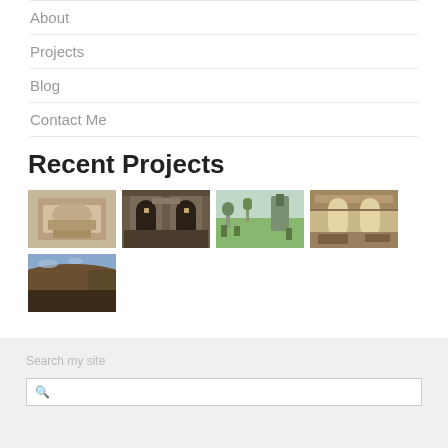About
Projects
Blog
Contact Me
Recent Projects
[Figure (photo): Grid of 5 project thumbnail photos: stone sculpture/effigy, arched stone doorways, churchyard with trees, church interior with windows, hillside landscape]
Search my site